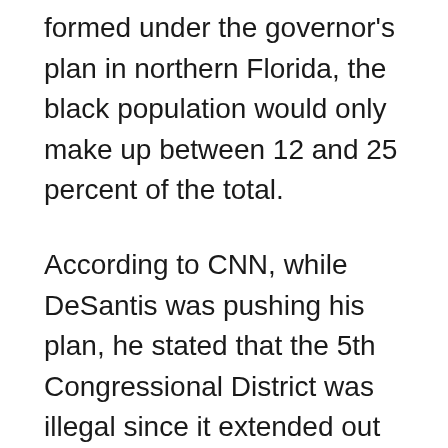formed under the governor's plan in northern Florida, the black population would only make up between 12 and 25 percent of the total.
According to CNN, while DeSantis was pushing his plan, he stated that the 5th Congressional District was illegal since it extended out across 150 miles to link Tallahassee and Jacksonville. This caused him to claim that the district violated the constitution.
However, the judge stated that the 5th District had historical roots in Black communities. The Florida Supreme Court had established a precedent in the preceding decade when it set